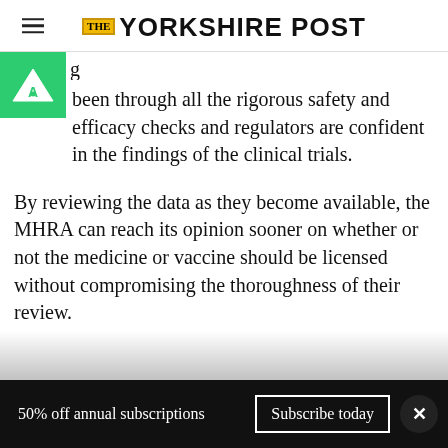The Yorkshire Post
been through all the rigorous safety and efficacy checks and regulators are confident in the findings of the clinical trials.

By reviewing the data as they become available, the MHRA can reach its opinion sooner on whether or not the medicine or vaccine should be licensed without compromising the thoroughness of their review.
50% off annual subscriptions  Subscribe today